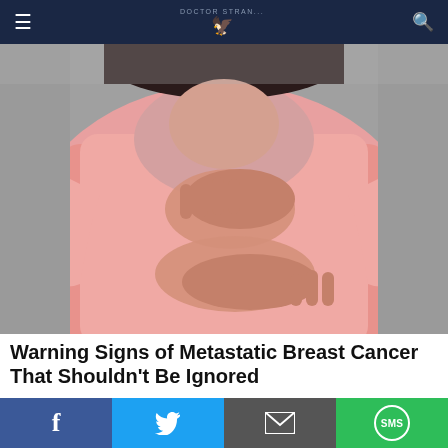Doctor Stran... [navigation bar with hamburger, logo, search]
[Figure (photo): Woman in pink long-sleeve shirt performing breast self-examination against gray background, hands placed on chest]
Warning Signs of Metastatic Breast Cancer That Shouldn't Be Ignored
[Figure (photo): Thumbnail of same woman in pink shirt performing breast self-exam]
Warning Signs of Metastatic Breast Cancer That Shouldn't Be Ignored
Breast Cancer | Search Ads | Sponsored
Social sharing bar: Facebook, Twitter, Email, SMS